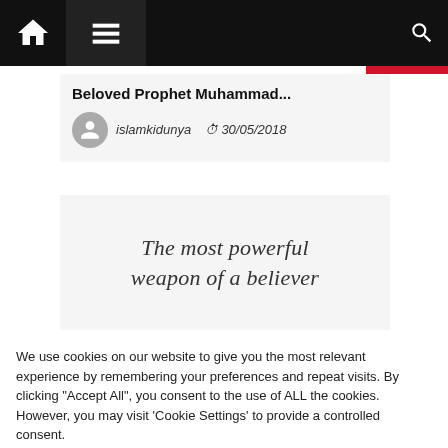Navigation bar with home, menu, and search icons
Beloved Prophet Muhammad...
islamkidunya  30/05/2018
[Figure (illustration): Cursive italic quote text on light background: 'The most powerful weapon of a believer']
We use cookies on our website to give you the most relevant experience by remembering your preferences and repeat visits. By clicking "Accept All", you consent to the use of ALL the cookies. However, you may visit 'Cookie Settings' to provide a controlled consent.